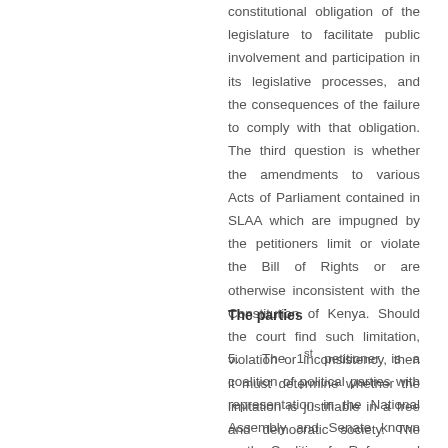constitutional obligation of the legislature to facilitate public involvement and participation in its legislative processes, and the consequences of the failure to comply with that obligation. The third question is whether the amendments to various Acts of Parliament contained in SLAA which are impugned by the petitioners limit or violate the Bill of Rights or are otherwise inconsistent with the Constitution of Kenya. Should the court find such limitation, violation or inconsistency, then it must determine whether the limitation is justifiable in a free and democratic society. The last issue to consider is whether the prayers sought in the Petition should be granted or not.
The parties
5. The 1st petitioner is a coalition of political parties with representation in the National Assembly and Senate known as the Coalition for Reform and Democracy, popularly known by